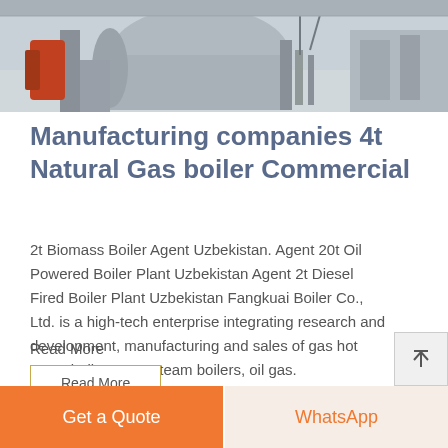[Figure (photo): Industrial boiler machinery photograph showing large cylindrical boiler equipment in a factory/warehouse setting]
Manufacturing companies 4t Natural Gas boiler Commercial
2t Biomass Boiler Agent Uzbekistan. Agent 20t Oil Powered Boiler Plant Uzbekistan Agent 2t Diesel Fired Boiler Plant Uzbekistan Fangkuai Boiler Co., Ltd. is a high-tech enterprise integrating research and development, manufacturing and sales of gas hot water boilers, gas steam boilers, oil gas. Read More
Read More